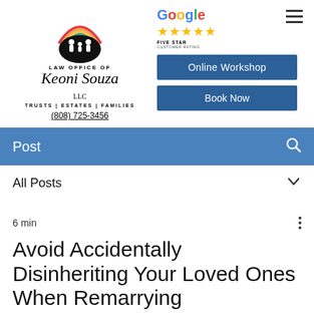[Figure (logo): Law Office of Keoni Souza LLC logo with rainbow arc and family silhouettes]
LAW OFFICE OF
Keoni Souza LLC
TRUSTS | ESTATES | FAMILIES
(808) 725-3456
[Figure (logo): Google Five Star Customer Rating with gold stars]
Online Workshop
Book Now
Post
All Posts
6 min
Avoid Accidentally Disinheriting Your Loved Ones When Remarrying